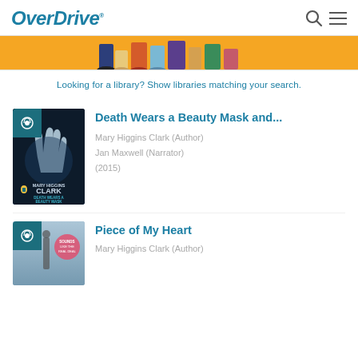OverDrive
[Figure (illustration): Colorful banner with illustrated figures on orange background, partially visible at top]
Looking for a library? Show libraries matching your search.
[Figure (photo): Audiobook cover: Death Wears a Beauty Mask and... by Mary Higgins Clark. Dark cover with a hand silhouette.]
Death Wears a Beauty Mask and...
Mary Higgins Clark (Author)
Jan Maxwell (Narrator)
(2015)
[Figure (photo): Audiobook cover: Piece of My Heart by Mary Higgins Clark. Blurred street scene cover.]
Piece of My Heart
Mary Higgins Clark (Author)